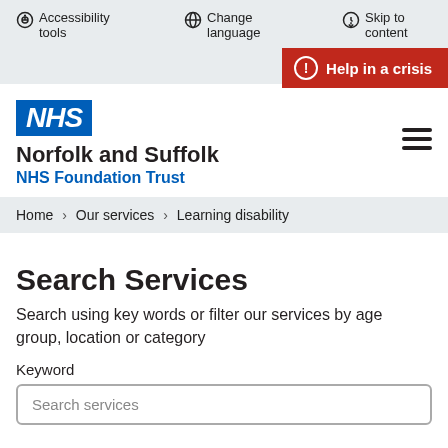Accessibility tools  Change language  Skip to content
[Figure (screenshot): Help in a crisis red button with speech bubble icon]
[Figure (logo): NHS logo blue box with NHS in white italic bold text, Norfolk and Suffolk NHS Foundation Trust]
Home > Our services > Learning disability
Search Services
Search using key words or filter our services by age group, location or category
Keyword
Search services